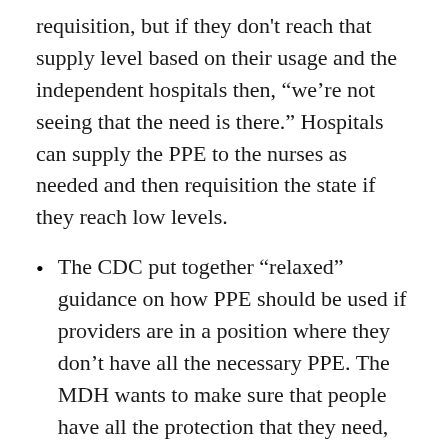requisition, but if they don't reach that supply level based on their usage and the independent hospitals then, “we’re not seeing that the need is there.” Hospitals can supply the PPE to the nurses as needed and then requisition the state if they reach low levels.
The CDC put together “relaxed” guidance on how PPE should be used if providers are in a position where they don’t have all the necessary PPE. The MDH wants to make sure that people have all the protection that they need, but because of the situation with the global shortage, there have been changes made in terms of how PPE can be used in this current pandemic. Hospitals have been following this guidance. However, the MDH has not had a reason to differ on the CDC’s guidance on the prioritization and conservation of PPE. Malcolm says technology